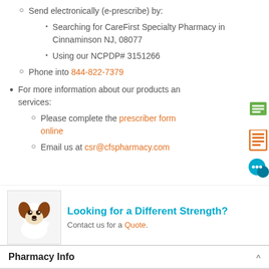Send electronically (e-prescribe) by:
Searching for CareFirst Specialty Pharmacy in Cinnaminson NJ, 08077
Using our NCPDP# 3151266
Phone into 844-822-7379
For more information about our products and services:
Please complete the prescriber form online
Email us at csr@cfspharmacy.com
Looking for a Different Strength? Contact us for a Quote.
Pharmacy Info